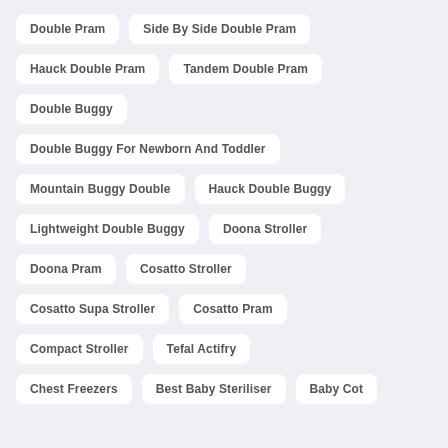Double Pram
Side By Side Double Pram
Hauck Double Pram
Tandem Double Pram
Double Buggy
Double Buggy For Newborn And Toddler
Mountain Buggy Double
Hauck Double Buggy
Lightweight Double Buggy
Doona Stroller
Doona Pram
Cosatto Stroller
Cosatto Supa Stroller
Cosatto Pram
Compact Stroller
Tefal Actifry
Chest Freezers
Best Baby Steriliser
Baby Cot